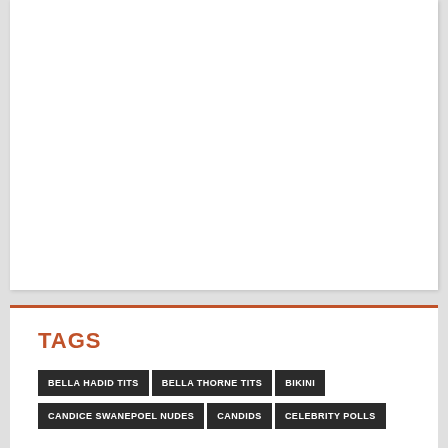[Figure (other): White content box / advertisement placeholder area]
TAGS
BELLA HADID TITS
BELLA THORNE TITS
BIKINI
CANDICE SWANEPOEL NUDES
CANDIDS
CELEBRITY POLLS